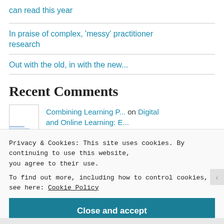can read this year
In praise of complex, 'messy' practitioner research
Out with the old, in with the new...
Recent Comments
Combining Learning P... on Digital and Online Learning: E...
Privacy & Cookies: This site uses cookies. By continuing to use this website, you agree to their use.
To find out more, including how to control cookies, see here: Cookie Policy
Close and accept